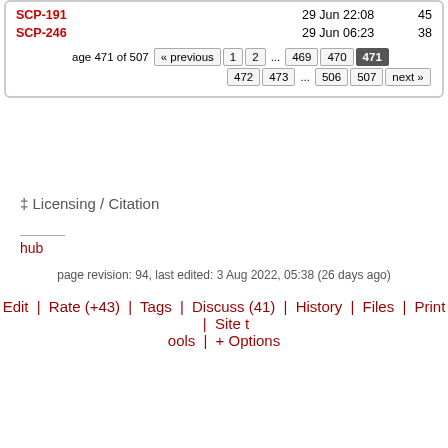| Name | Date | Count |
| --- | --- | --- |
| SCP-191 | 29 Jun 22:08 | 45 |
| SCP-246 | 29 Jun 06:23 | 38 |
page 471 of 507 « previous 1 2 ... 469 470 471 472 473 ... 506 507 next »
‡ Licensing / Citation
hub
page revision: 94, last edited: 3 Aug 2022, 05:38 (26 days ago)
Edit | Rate (+43) | Tags | Discuss (41) | History | Files | Print | Site tools | + Options